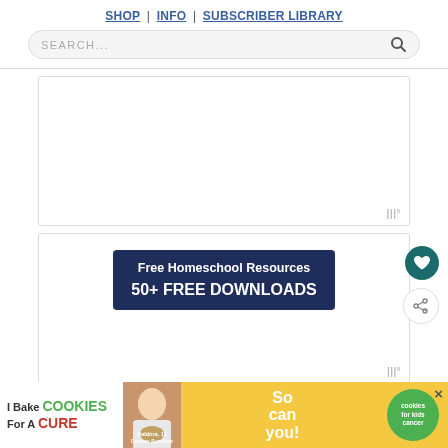SHOP | INFO | SUBSCRIBER LIBRARY
SEARCH...
[Figure (other): Advertisement placeholder block with Mediavine watermark]
[Figure (other): Content card with heart and share buttons, showing Free Homeschool Resources banner: 50+ FREE DOWNLOADS on dark navy background]
[Figure (other): Bottom advertisement banner: I Bake COOKIES For A CURE - Haldora, 11 Cancer Survivor - So can you! - cookies for kids cancer logo]